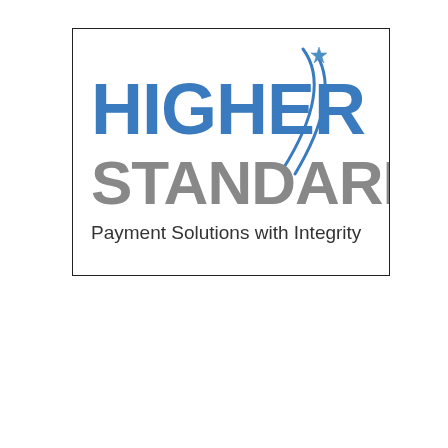[Figure (logo): Higher Standards Payment Solutions with Integrity logo. Blue bold text 'HIGHER' on top line, grey bold text 'STANDARDS' on second line, blue arc/swoosh graphic with star on upper right, tagline 'Payment Solutions with Integrity' in dark grey beneath. Contained in a thin black rectangle border.]